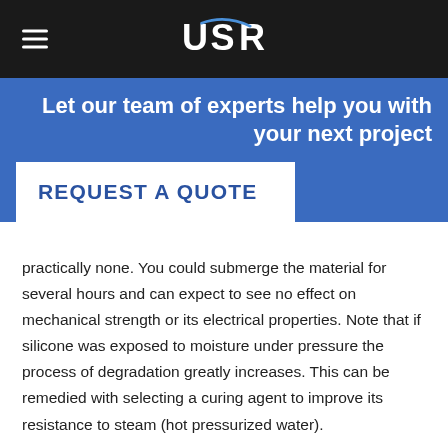USR (logo)
Let our team of experts help you with your next project
REQUEST A QUOTE
practically none. You could submerge the material for several hours and can expect to see no effect on mechanical strength or its electrical properties. Note that if silicone was exposed to moisture under pressure the process of degradation greatly increases. This can be remedied with selecting a curing agent to improve its resistance to steam (hot pressurized water).
Silicone rubber has excellent resistance to oil at high